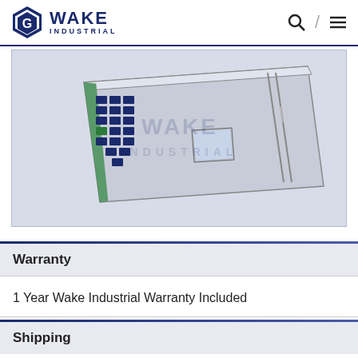Wake Industrial
[Figure (photo): Industrial control panel or membrane keypad device shown at an angle, with multiple blue buttons/keys and a small display screen. Wake Industrial watermark visible in the background.]
Warranty
1 Year Wake Industrial Warranty Included
Shipping